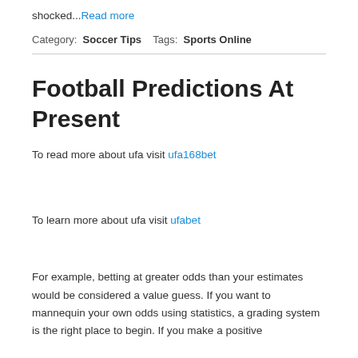shocked...Read more
Category:  Soccer Tips   Tags:  Sports Online
Football Predictions At Present
To read more about ufa visit ufa168bet
To learn more about ufa visit ufabet
For example, betting at greater odds than your estimates would be considered a value guess. If you want to mannequin your own odds using statistics, a grading system is the right place to begin. If you make a positive...